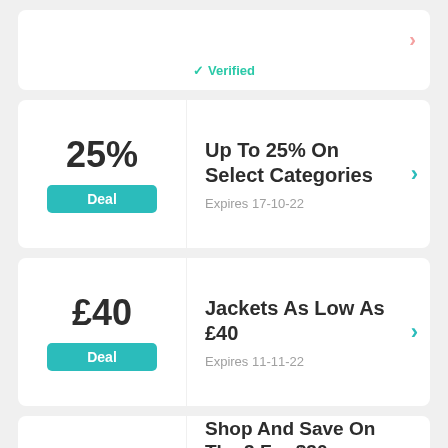✓ Verified
25%
Deal
Up To 25% On Select Categories
Expires 17-10-22
£40
Deal
Jackets As Low As £40
Expires 11-11-22
$30
Shop And Save On The 3 For $30 Undies Bundle And Free